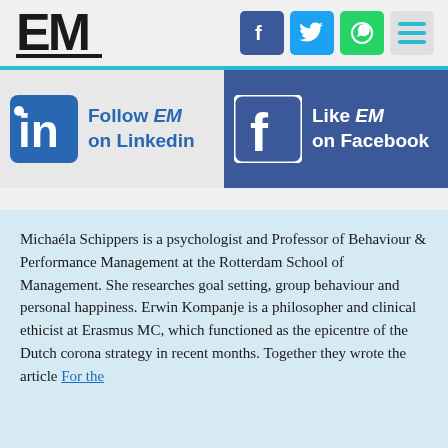[Figure (logo): EM logo with bold letters E and M, underlined]
[Figure (infographic): Social media header icons: Facebook (blue), Twitter (light blue), WhatsApp (green), hamburger menu]
[Figure (infographic): LinkedIn banner: Follow EM on Linkedin with LinkedIn logo icon]
[Figure (infographic): Facebook banner: Like EM on Facebook with Facebook logo icon]
Michaéla Schippers is a psychologist and Professor of Behaviour & Performance Management at the Rotterdam School of Management. She researches goal setting, group behaviour and personal happiness. Erwin Kompanje is a philosopher and clinical ethicist at Erasmus MC, which functioned as the epicentre of the Dutch corona strategy in recent months. Together they wrote the article For the